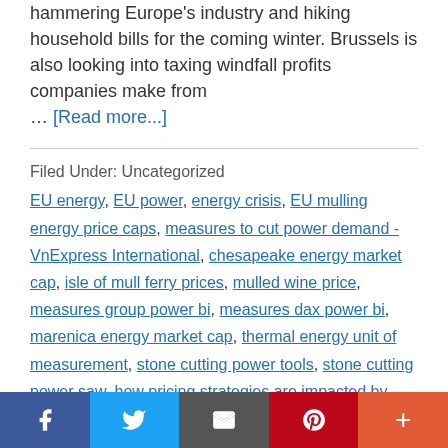hammering Europe's industry and hiking household bills for the coming winter. Brussels is also looking into taxing windfall profits companies make from … [Read more...]
Filed Under: Uncategorized
EU energy, EU power, energy crisis, EU mulling energy price caps, measures to cut power demand - VnExpress International, chesapeake energy market cap, isle of mull ferry prices, mulled wine price, measures group power bi, measures dax power bi, marenica energy market cap, thermal energy unit of measurement, stone cutting power tools, stone cutting power saw, how pricing strategies are impacted by demand elasticity, is...
[Figure (infographic): Social share bar at the bottom with Facebook (blue), Twitter (light blue), Email (dark gray), Pinterest (red), and More/Plus (orange-red) buttons]